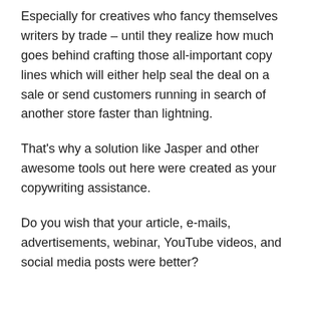Especially for creatives who fancy themselves writers by trade – until they realize how much goes behind crafting those all-important copy lines which will either help seal the deal on a sale or send customers running in search of another store faster than lightning.
That's why a solution like Jasper and other awesome tools out here were created as your copywriting assistance.
Do you wish that your article, e-mails, advertisements, webinar, YouTube videos, and social media posts were better?